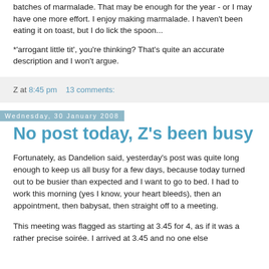batches of marmalade. That may be enough for the year - or I may have one more effort. I enjoy making marmalade. I haven't been eating it on toast, but I do lick the spoon...
*'arrogant little tit', you're thinking? That's quite an accurate description and I won't argue.
Z at 8:45 pm    13 comments:
Wednesday, 30 January 2008
No post today, Z's been busy
Fortunately, as Dandelion said, yesterday's post was quite long enough to keep us all busy for a few days, because today turned out to be busier than expected and I want to go to bed. I had to work this morning (yes I know, your heart bleeds), then an appointment, then babysat, then straight off to a meeting.
This meeting was flagged as starting at 3.45 for 4, as if it was a rather precise soirée. I arrived at 3.45 and no one else...